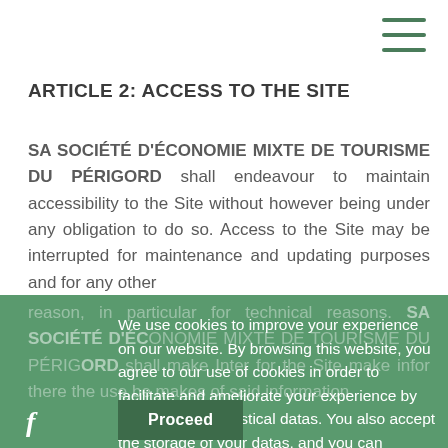≡ (hamburger menu icon)
ARTICLE 2: ACCESS TO THE SITE
SA SOCIÉTÉ D'ÉCONOMIE MIXTE DE TOURISME DU PÉRIGORD shall endeavour to maintain accessibility to the Site without however being under any obligation to do so. Access to the Site may be interrupted for maintenance and updating purposes and for any other
We use cookies to improve your experience on our website. By browsing this website, you agree to our use of cookies in order to facilitate and ameliorate your experience by production of statistical datas. You also accept the storage of your datas, and you can supress it at any moment through a simple email. Read more.
Proceed